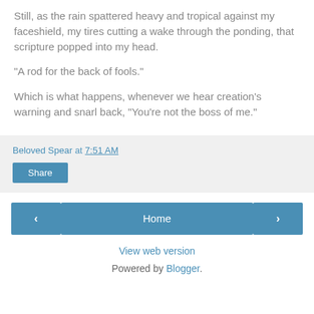Still, as the rain spattered heavy and tropical against my faceshield, my tires cutting a wake through the ponding, that scripture popped into my head.
"A rod for the back of fools."
Which is what happens, whenever we hear creation's warning and snarl back, "You're not the boss of me."
Beloved Spear at 7:51 AM
Share
Home
View web version
Powered by Blogger.